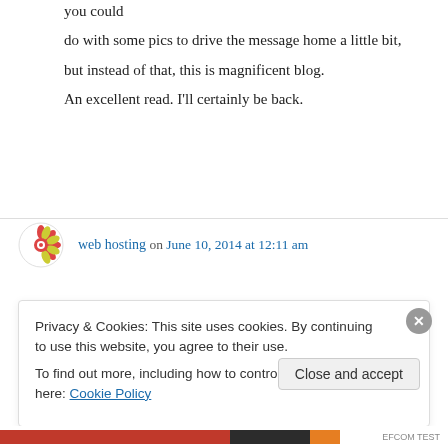you could do with some pics to drive the message home a little bit, but instead of that, this is magnificent blog. An excellent read. I'll certainly be back.
↳ Reply
web hosting on June 10, 2014 at 12:11 am
These are in fact great ideas in about blogging.
Privacy & Cookies: This site uses cookies. By continuing to use this website, you agree to their use. To find out more, including how to control cookies, see here: Cookie Policy
Close and accept